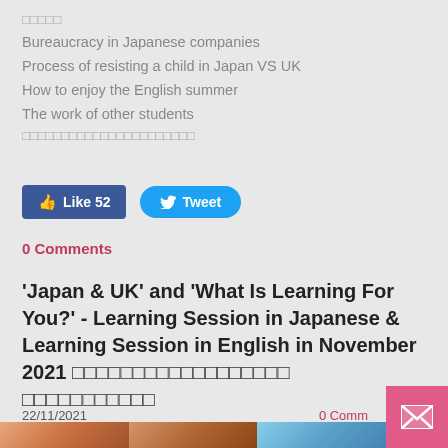□□□□□
Bureaucracy in Japanese companies
Process of resisting a child in Japan VS UK
How to enjoy the English summer
The work of other students
□□□□□□□□□□□□□□□□□□□□□□
Like 52   Tweet
0 Comments
'Japan & UK' and 'What Is Learning For You?' - Learning Session in Japanese & Learning Session in English in November 2021 □□□□□□□□□□□□□□□□□□ □□□□□□□□□□□
22/11/2021
0 Comm